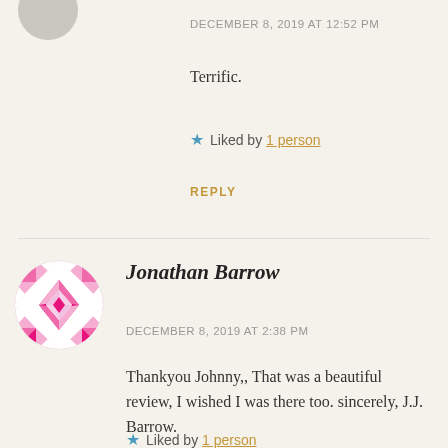DECEMBER 8, 2019 AT 12:52 PM
Terrific.
Liked by 1 person
REPLY
Jonathan Barrow
DECEMBER 8, 2019 AT 2:38 PM
Thankyou Johnny,, That was a beautiful review, I wished I was there too. sincerely, J.J. Barrow.
Liked by 1 person